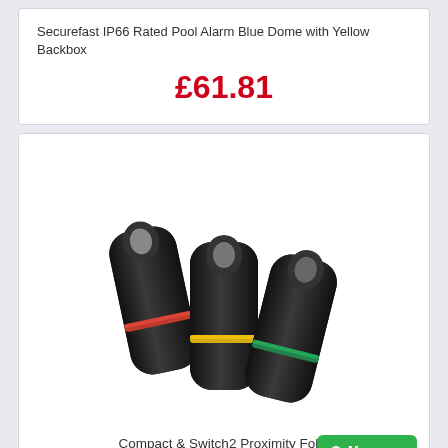Securefast IP66 Rated Pool Alarm Blue Dome with Yellow Backbox
£61.81
[Figure (photo): Three black proximity fobs/key fobs arranged in a slightly fanned-out display. Each fob has a loop hole at the top and a colored stripe: the left fob has a red stripe, the middle fob has a yellow stripe, and the right fob has a green stripe.]
Compact & Switch2 Proximity Fobs